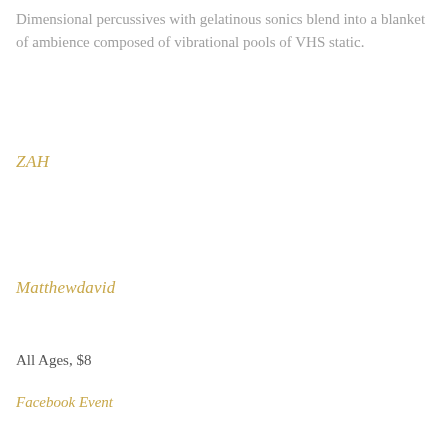Dimensional percussives with gelatinous sonics blend into a blanket of ambience composed of vibrational pools of VHS static.
ZAH
Matthewdavid
All Ages, $8
Facebook Event